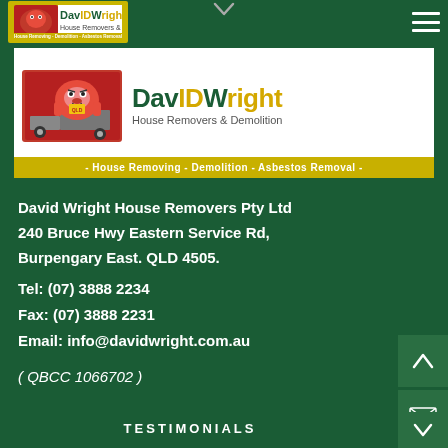[Figure (logo): David Wright House Removers & Demolition logo with mascot, brand name, and tagline banner saying House Removing - Demolition - Asbestos Removal]
David Wright House Removers Pty Ltd
240 Bruce Hwy Eastern Service Rd,
Burpengary East. QLD 4505.
Tel: (07) 3888 2234
Fax: (07) 3888 2231
Email: info@davidwright.com.au
( QBCC 1066702 )
TESTIMONIALS